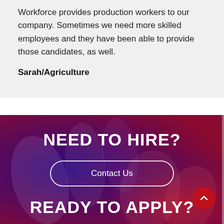Workforce provides production workers to our company. Sometimes we need more skilled employees and they have been able to provide those candidates, as well.
Sarah/Agriculture
[Figure (photo): Dark blue and red gradient background with hands raised, overlaid with text 'NEED TO HIRE?' and a 'Contact Us' button, and partial text 'READY TO APPLY?' at the bottom]